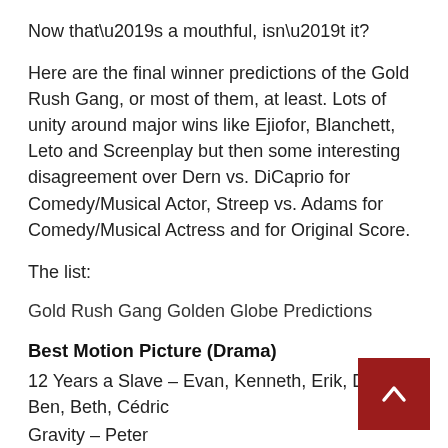Now that’s a mouthful, isn’t it?
Here are the final winner predictions of the Gold Rush Gang, or most of them, at least. Lots of unity around major wins like Ejiofor, Blanchett, Leto and Screenplay but then some interesting disagreement over Dern vs. DiCaprio for Comedy/Musical Actor, Streep vs. Adams for Comedy/Musical Actress and for Original Score.
The list:
Gold Rush Gang Golden Globe Predictions
Best Motion Picture (Drama)
12 Years a Slave – Evan, Kenneth, Erik, Dennis, Ben, Beth, Cédric
Gravity – Peter
Best Motion Picture (Comedy/Musical)